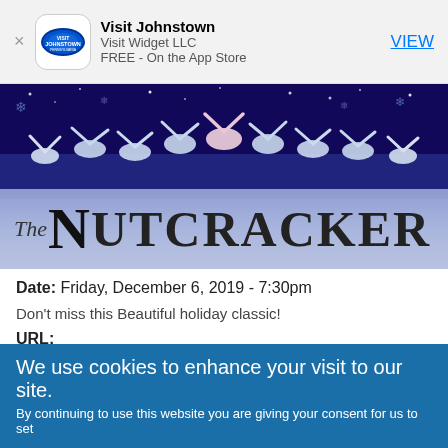[Figure (screenshot): App Store smart banner showing Visit Johnstown app with logo, text and VIEW link]
[Figure (photo): The Nutcracker ballet promotional image showing dancers on stage with dark blue starry background and large stylized text 'The NUTCRACKER']
Date: Friday, December 6, 2019 - 7:30pm
Don't miss this Beautiful holiday classic!
URL:
https://www.johnstownconcertballet.org/nutcracker19/
Location:
We use cookies to enhance your visit to our site.
By continuing to use this website you are giving your consent for us to set